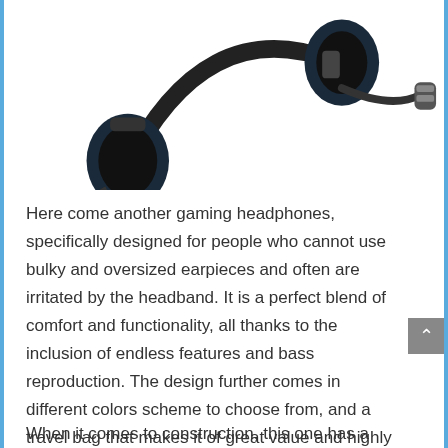[Figure (photo): Gaming headphones/headset shown from a side angle, black with blue accents, featuring an adjustable microphone boom and over-ear cushions.]
Here come another gaming headphones, specifically designed for people who cannot use bulky and oversized earpieces and often are irritated by the headband. It is a perfect blend of comfort and functionality, all thanks to the inclusion of endless features and bass reproduction. The design further comes in different colors scheme to choose from, and a travel bag that makes it of great value and highly portable.
When it comes to construction, this one has a PU